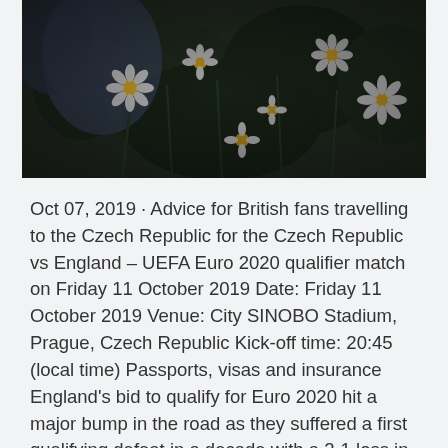[Figure (photo): A dark, moody photograph of white daisy flowers with a person's legs wearing jeans visible in the background. The scene is outdoors with lush greenery.]
Oct 07, 2019 · Advice for British fans travelling to the Czech Republic for the Czech Republic vs England – UEFA Euro 2020 qualifier match on Friday 11 October 2019 Date: Friday 11 October 2019 Venue: City SINOBO Stadium, Prague, Czech Republic Kick-off time: 20:45 (local time) Passports, visas and insurance England's bid to qualify for Euro 2020 hit a major bump in the road as they suffered a first qualifying defeat in a decade with a 2-1 loss in the Czech Republic. See full list on thefreehotguide.com Mar 21, 2019 · The Euro 2020